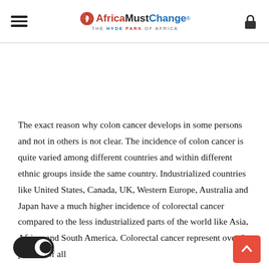AfricaMustChange® — THE HYDE PARK OF AFRICA
The exact reason why colon cancer develops in some persons and not in others is not clear. The incidence of colon cancer is quite varied among different countries and within different ethnic groups inside the same country. Industrialized countries like United States, Canada, UK, Western Europe, Australia and Japan have a much higher incidence of colorectal cancer compared to the less industrialized parts of the world like Asia, Africa, a[nd] [S]outh [A]merica. Colorectal cancer represent over 9 percent of all